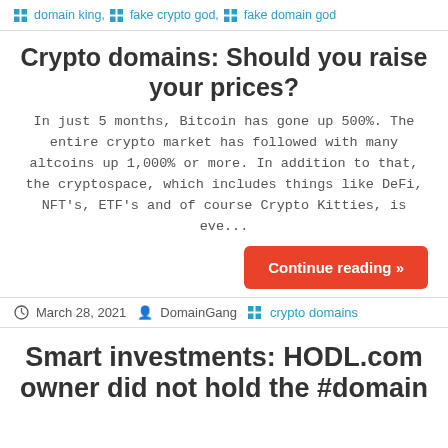domain king, fake crypto god, fake domain god
Crypto domains: Should you raise your prices?
In just 5 months, Bitcoin has gone up 500%. The entire crypto market has followed with many altcoins up 1,000% or more. In addition to that, the cryptospace, which includes things like DeFi, NFT's, ETF's and of course Crypto Kitties, is eve...
Continue reading »
March 28, 2021  DomainGang  crypto domains
Smart investments: HODL.com owner did not hold the #domain